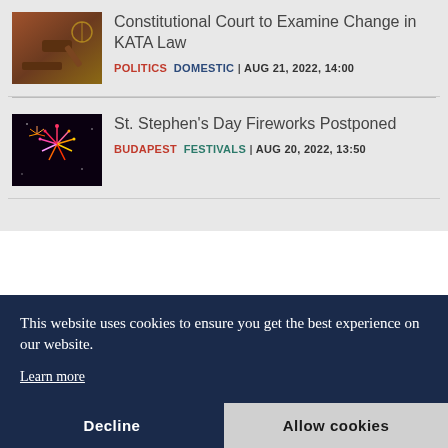Constitutional Court to Examine Change in KATA Law
POLITICS DOMESTIC | AUG 21, 2022, 14:00
St. Stephen's Day Fireworks Postponed
BUDAPEST FESTIVALS | AUG 20, 2022, 13:50
This website uses cookies to ensure you get the best experience on our website.
Learn more
Decline
Allow cookies
JUL 22, 2022, 12:05